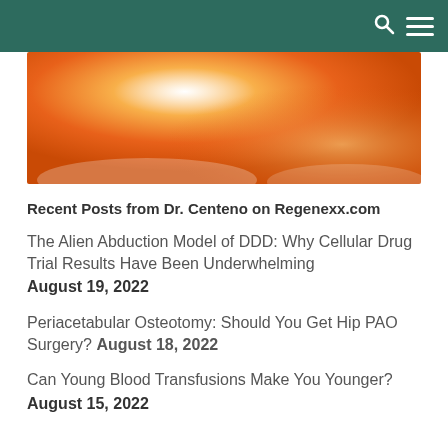[Figure (photo): Orange gradient hero image, blurred abstract warm background]
Recent Posts from Dr. Centeno on Regenexx.com
The Alien Abduction Model of DDD: Why Cellular Drug Trial Results Have Been Underwhelming August 19, 2022
Periacetabular Osteotomy: Should You Get Hip PAO Surgery? August 18, 2022
Can Young Blood Transfusions Make You Younger? August 15, 2022